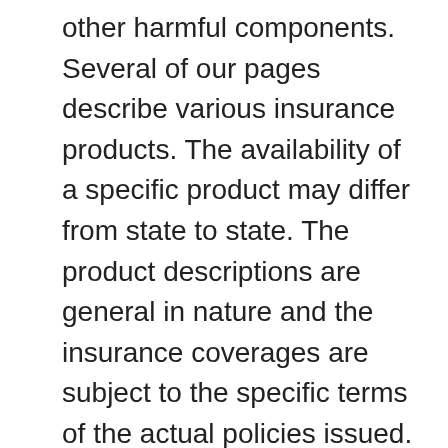other harmful components. Several of our pages describe various insurance products. The availability of a specific product may differ from state to state. The product descriptions are general in nature and the insurance coverages are subject to the specific terms of the actual policies issued. If you are interested in the terms and conditions of a specific product, please contact us for additional information. Disclaimer of Liability In no event shall Cassidy Insurance Services or its affiliated companies be liable for any compensatory, special, direct, incidental, indirect, or consequential damages, exemplary damages or any damages whatsoever resulting from loss of use, data, information or profits arising out of or in connection with the use or performance of the data,